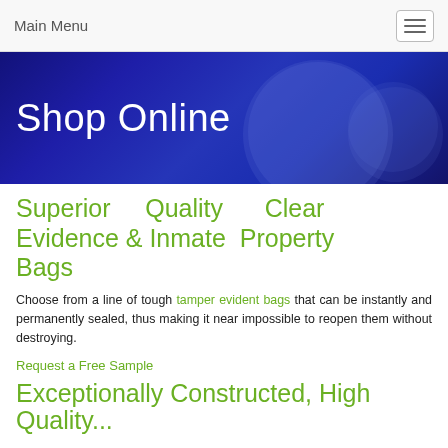Main Menu
Shop Online
Superior Quality Clear Evidence & Inmate Property Bags
Choose from a line of tough tamper evident bags that can be instantly and permanently sealed, thus making it near impossible to reopen them without destroying.
Request a Free Sample
Exceptionally Constructed, High Quality...